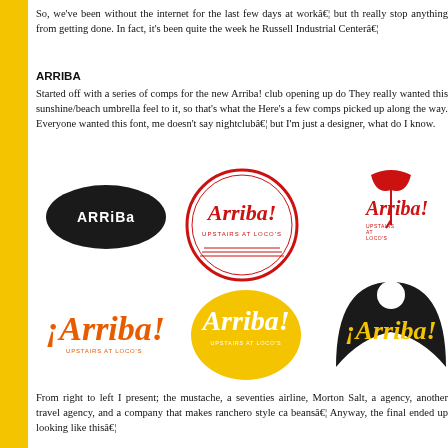So, we've been without the internet for the last few days at workâ€¦ but th really stop anything from getting done. In fact, it's been quite the week he Russell Industrial Centerâ€¦
ARRIBA
Started off with a series of comps for the new Arriba! club opening up do They really wanted this sunshine/beach umbrella feel to it, so that's what the Here's a few comps picked up along the way. Everyone wanted this font, me doesn't say nightclubâ€¦ but I'm just a designer, what do I know.
[Figure (logo): Six logo comps for 'Arriba! Upstairs at Loco's' nightclub: black mustache-shaped logo with 'ARRiBa' text; red circle badge with 'Arriba! Upstairs at Loco's'; red Arriba! with umbrella icon; orange '¡Arriba!' on white; yellow sun-shaped Arriba! logo; black arch-shaped ¡Arriba! logo with yellow text.]
From right to left I present; the mustache, a seventies airline, Morton Salt, a agency, another travel agency, and a company that makes ranchero style ca beansâ€¦ Anyway, the final ended up looking like thisâ€¦